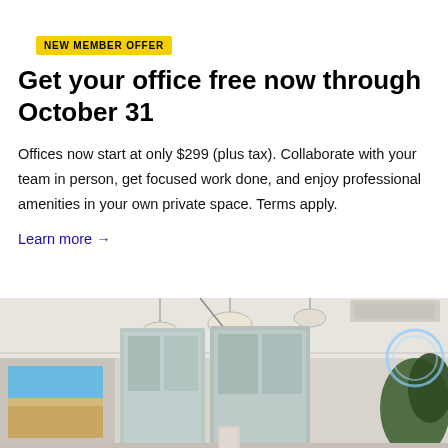NEW MEMBER OFFER
Get your office free now through October 31
Offices now start at only $299 (plus tax). Collaborate with your team in person, get focused work done, and enjoy professional amenities in your own private space. Terms apply.
Learn more →
[Figure (photo): Interior of a modern coworking office space with pendant lights hanging from the ceiling, glass-paneled doors/partitions, artwork on the left wall, and plants visible on the right side.]